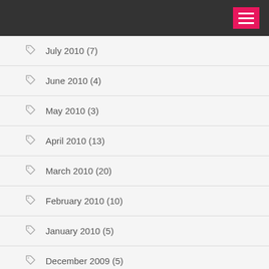Navigation menu header bar
July 2010 (7)
June 2010 (4)
May 2010 (3)
April 2010 (13)
March 2010 (20)
February 2010 (10)
January 2010 (5)
December 2009 (5)